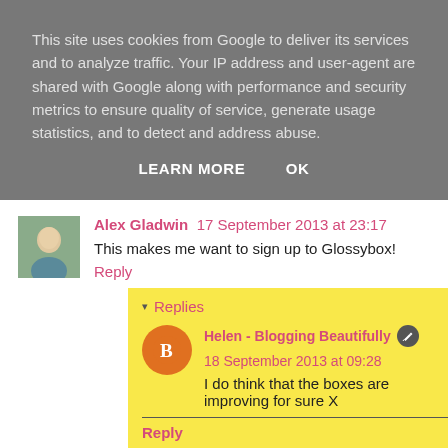This site uses cookies from Google to deliver its services and to analyze traffic. Your IP address and user-agent are shared with Google along with performance and security metrics to ensure quality of service, generate usage statistics, and to detect and address abuse.
LEARN MORE   OK
Alex Gladwin  17 September 2013 at 23:17
This makes me want to sign up to Glossybox!
Reply
Replies
Helen - Blogging Beautifully  18 September 2013 at 09:28
I do think that the boxes are improving for sure X
Reply